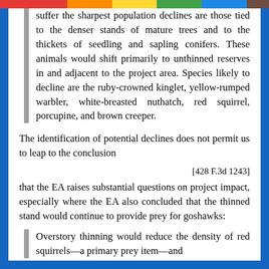suffer the sharpest population declines are those tied to the denser stands of mature trees and to the thickets of seedling and sapling conifers. These animals would shift primarily to unthinned reserves in and adjacent to the project area. Species likely to decline are the ruby-crowned kinglet, yellow-rumped warbler, white-breasted nuthatch, red squirrel, porcupine, and brown creeper.
The identification of potential declines does not permit us to leap to the conclusion
[428 F.3d 1243]
that the EA raises substantial questions on project impact, especially where the EA also concluded that the thinned stand would continue to provide prey for goshawks:
Overstory thinning would reduce the density of red squirrels—a primary prey item—and